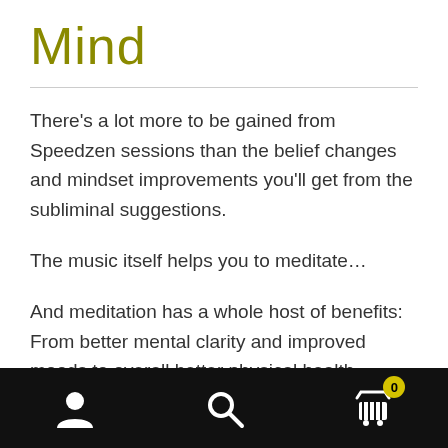Mind
There's a lot more to be gained from Speedzen sessions than the belief changes and mindset improvements you'll get from the subliminal suggestions.
The music itself helps you to meditate…
And meditation has a whole host of benefits: From better mental clarity and improved moods to overall better physical health.
Navigation bar with user, search, and cart (0) icons